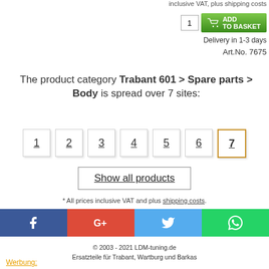inclusive VAT, plus shipping costs
[Figure (screenshot): Add to basket button with quantity box showing 1 and green ADD TO BASKET button with cart icon]
Delivery in 1-3 days
Art.No. 7675
The product category Trabant 601 > Spare parts > Body is spread over 7 sites:
1 2 3 4 5 6 7 page navigation buttons
Show all products
* All prices inclusive VAT and plus shipping costs.
[Figure (screenshot): Social media share buttons: Facebook, Google+, Twitter, WhatsApp]
© 2003 - 2021 LDM-tuning.de
Ersatzteile für Trabant, Wartburg und Barkas
Werbung: